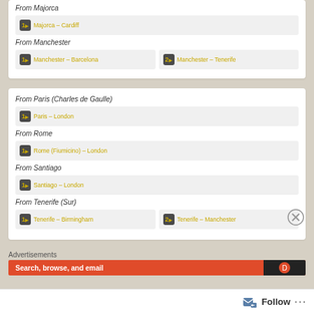From Majorca
1. Majorca – Cardiff
From Manchester
1. Manchester – Barcelona
2. Manchester – Tenerife
From Paris (Charles de Gaulle)
1. Paris – London
From Rome
1. Rome (Fiumicino) – London
From Santiago
1. Santiago – London
From Tenerife (Sur)
1. Tenerife – Birmingham
2. Tenerife – Manchester
Advertisements
Search, browse, and email
Follow
···